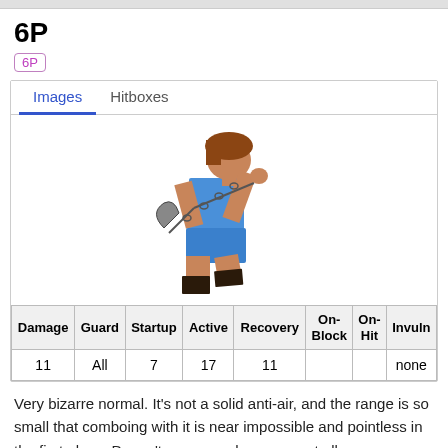6P
6P
[Figure (illustration): Pixel art sprite of a fighting game character in blue outfit wielding a chain and blade weapon in a crouching stance]
| Damage | Guard | Startup | Active | Recovery | On-Block | On-Hit | Invuln |
| --- | --- | --- | --- | --- | --- | --- | --- |
| 11 | All | 7 | 17 | 11 |  |  | none |
Very bizarre normal. It's not a solid anti-air, and the range is so small that comboing with it is near impossible and pointless in the first place. Doesn't serve much purpose at all.